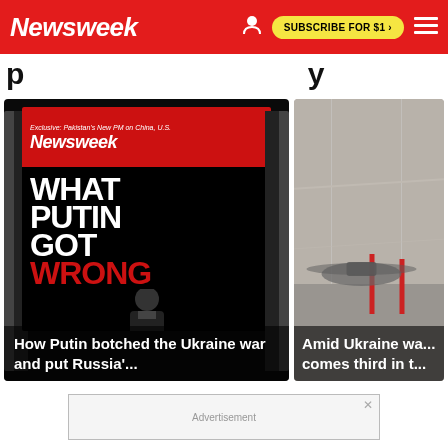Newsweek — SUBSCRIBE FOR $1 >
p...y
[Figure (photo): Newsweek magazine cover titled 'WHAT PUTIN GOT WRONG' with image of Putin and subtitle about Russian leader and military, shown in a magazine stack display. Caption overlay: 'How Putin botched the Ukraine war and put Russia'...]
[Figure (photo): Photo of a military aircraft or drone on the ground. Caption overlay: 'Amid Ukraine wa... comes third in t...']
[Figure (other): Advertisement banner at bottom of page with close X button]